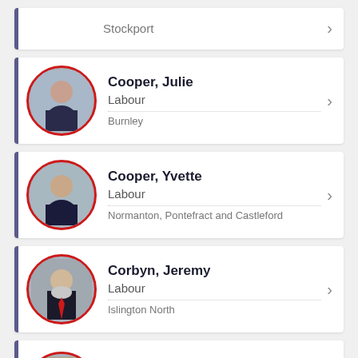Stockport
Cooper, Julie | Labour | Burnley
Cooper, Yvette | Labour | Normanton, Pontefract and Castleford
Corbyn, Jeremy | Labour | Islington North
Coyle, Neil | Labour